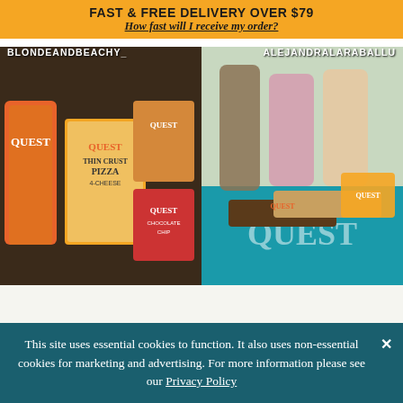FAST & FREE DELIVERY OVER $79
How fast will I receive my order?
[Figure (photo): Left half: Quest Nutrition products including protein powder tub, Thin Crust 4-Cheese Pizza box, Quest cookies box, and Chocolate Chip cookie bag on dark counter. Username overlay: BLONDEANDBEACHY_]
[Figure (photo): Right half: Quest Nutrition bars and protein shakes/smoothies on teal Quest-branded towel. Username overlay: ALEJANDRALARABALLU]
OUR PRODUCT LINE-UP
This site uses essential cookies to function. It also uses non-essential cookies for marketing and advertising. For more information please see our Privacy Policy